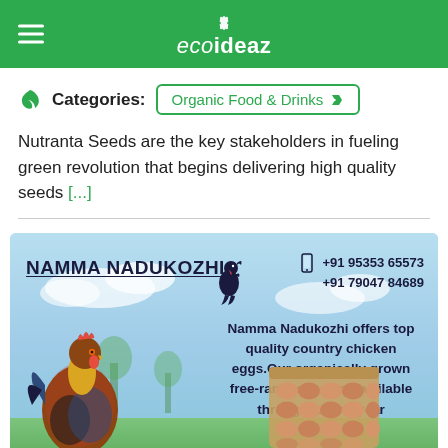ecodeaz
Categories: Organic Food & Drinks
Nutranta Seeds are the key stakeholders in fueling green revolution that begins delivering high quality seeds [...]
[Figure (photo): Advertisement for Namma Nadukozhi showing a rooster, egg tray, brand name, contact numbers +91 95353 65573 and +91 79047 84689, and text about country chicken eggs on a sky-blue background.]